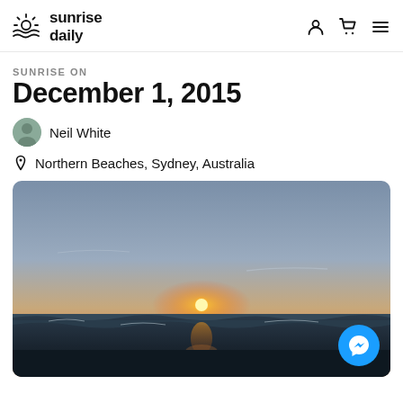sunrise daily
SUNRISE ON
December 1, 2015
Neil White
Northern Beaches, Sydney, Australia
[Figure (photo): Sunrise photo over ocean at Northern Beaches, Sydney, Australia. Sun rising at the horizon over ocean waves, sky gradient from grey-blue at top to warm orange and yellow near the sun.]